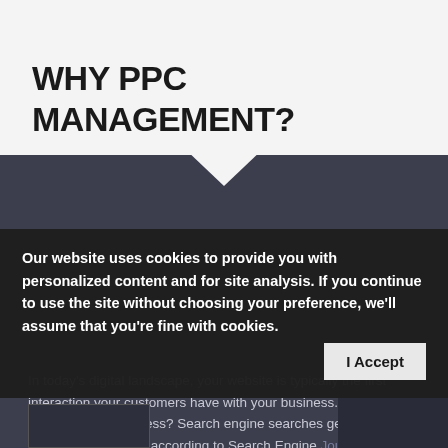WHY PPC MANAGEMENT?
In today's digital landscape, your website is typically the first interaction your customers have with your business. But how do they find your business? Search engine searches generate 51% of traffic to websites according to Search Engine Journal, while only 5% of website traffic is generated by
Our website uses cookies to provide you with personalized content and for site analysis. If you continue to use the site without choosing your preference, we'll assume that you're fine with cookies.